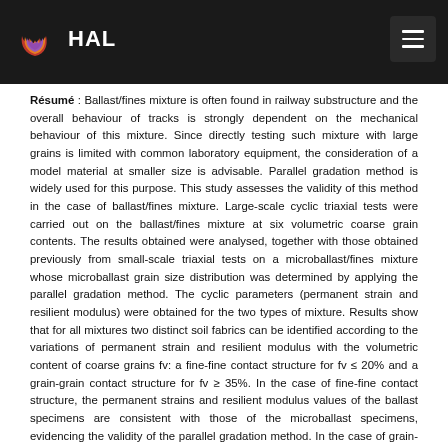HAL
Résumé : Ballast/fines mixture is often found in railway substructure and the overall behaviour of tracks is strongly dependent on the mechanical behaviour of this mixture. Since directly testing such mixture with large grains is limited with common laboratory equipment, the consideration of a model material at smaller size is advisable. Parallel gradation method is widely used for this purpose. This study assesses the validity of this method in the case of ballast/fines mixture. Large-scale cyclic triaxial tests were carried out on the ballast/fines mixture at six volumetric coarse grain contents. The results obtained were analysed, together with those obtained previously from small-scale triaxial tests on a microballast/fines mixture whose microballast grain size distribution was determined by applying the parallel gradation method. The cyclic parameters (permanent strain and resilient modulus) were obtained for the two types of mixture. Results show that for all mixtures two distinct soil fabrics can be identified according to the variations of permanent strain and resilient modulus with the volumetric content of coarse grains fv: a fine-fine contact structure for fv ≤ 20% and a grain-grain contact structure for fv ≥ 35%. In the case of fine-fine contact structure, the permanent strains and resilient modulus values of the ballast specimens are consistent with those of the microballast specimens, evidencing the validity of the parallel gradation method. In the case of grain-grain contact structure, the permanent strains and resilient modulus values are found to coincide globally at the two scales, also justifying the validity of